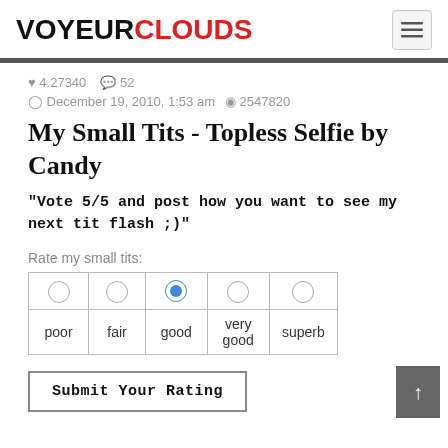VOYEURCLOUDS
♥ 4.27340  💬 52
🕐 December 19, 2010, 1:53 am  👁 2547820
My Small Tits - Topless Selfie by Candy
"Vote 5/5 and post how you want to see my next tit flash ;)"
Rate my small tits:
| ○ | ○ | ● | ○ | ○ |
| --- | --- | --- | --- | --- |
| poor | fair | good | very good | superb |
Submit Your Rating